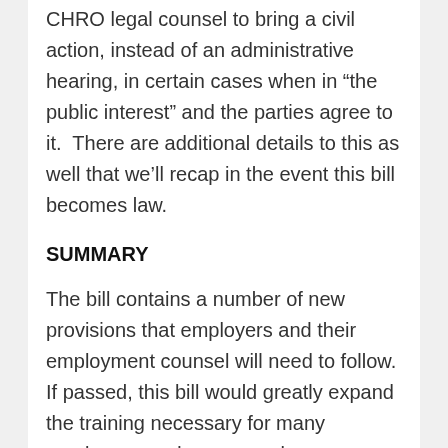CHRO legal counsel to bring a civil action, instead of an administrative hearing, in certain cases when in “the public interest” and the parties agree to it.  There are additional details to this as well that we’ll recap in the event this bill becomes law.
SUMMARY
The bill contains a number of new provisions that employers and their employment counsel will need to follow. If passed, this bill would greatly expand the training necessary for many employees and many employers.
These changes represent the most significant ones in the area of sexual harassment law in many many years.